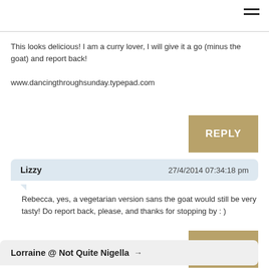≡
This looks delicious! I am a curry lover, I will give it a go (minus the goat) and report back!

www.dancingthroughsunday.typepad.com
REPLY
Lizzy   27/4/2014 07:34:18 pm
Rebecca, yes, a vegetarian version sans the goat would still be very tasty! Do report back, please, and thanks for stopping by : )
REPLY
Lorraine @ Not Quite Nigella →